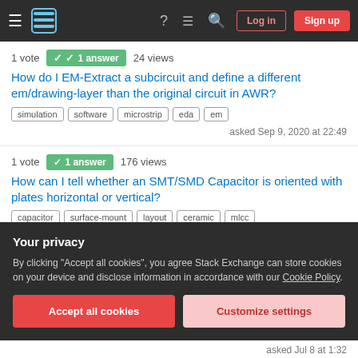Stack Exchange navigation bar with Log in and Sign up buttons
1 vote  1 answer  24 views
How do I EM-Extract a subcircuit and define a different em/drawing-layer than the original circuit in AWR?
simulation  software  microstrip  eda  em
asked Sep 9, 2020 at 22:49
1 vote  1 answer  176 views
How can I tell whether an SMT/SMD Capacitor is oriented with plates horizontal or vertical?
capacitor  surface-mount  layout  ceramic  mlcc
asked Nov 12, 2020 at 3:02
Your privacy
By clicking "Accept all cookies", you agree Stack Exchange can store cookies on your device and disclose information in accordance with our Cookie Policy.
Accept all cookies
Customize settings
asked Jul 8 at 1:32